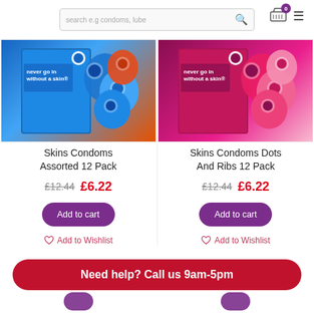[Figure (screenshot): E-commerce website header with search bar showing 'search e.g condoms, lube', cart icon with badge showing 0, and hamburger menu]
[Figure (photo): Skins Condoms Assorted 12 Pack product image — blue box with assorted condom packets]
Skins Condoms Assorted 12 Pack
£12.44  £6.22
Add to cart
Add to Wishlist
[Figure (photo): Skins Condoms Dots And Ribs 12 Pack product image — pink/magenta box with dotted and ribbed condom packets]
Skins Condoms Dots And Ribs 12 Pack
£12.44  £6.22
Add to cart
Add to Wishlist
Need help? Call us 9am-5pm